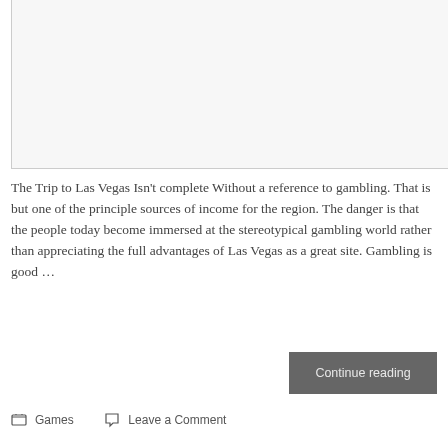[Figure (other): Empty framed box at the top of the page, light gray background with left and bottom border]
The Trip to Las Vegas Isn't complete Without a reference to gambling. That is but one of the principle sources of income for the region. The danger is that the people today become immersed at the stereotypical gambling world rather than appreciating the full advantages of Las Vegas as a great site. Gambling is good …
Continue reading
Games   Leave a Comment